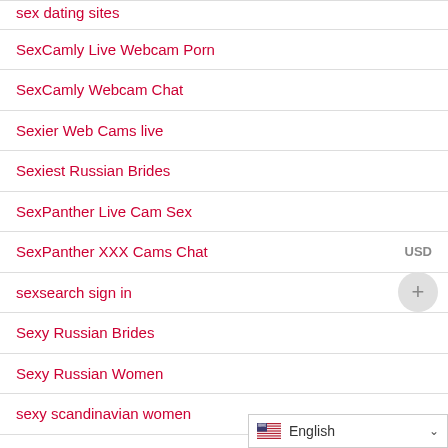sex dating sites
SexCamly Live Webcam Porn
SexCamly Webcam Chat
Sexier Web Cams live
Sexiest Russian Brides
SexPanther Live Cam Sex
SexPanther XXX Cams Chat
sexsearch sign in
Sexy Russian Brides
Sexy Russian Women
sexy scandinavian women
siberian woman